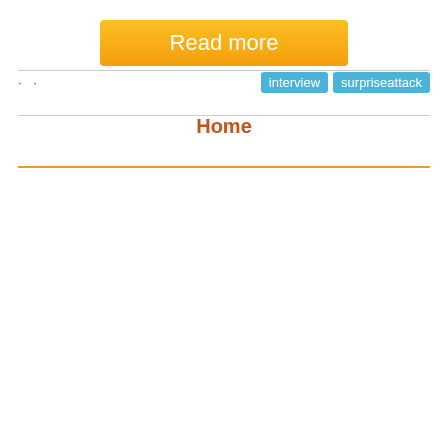Read more
· · interview surpriseattack
Home